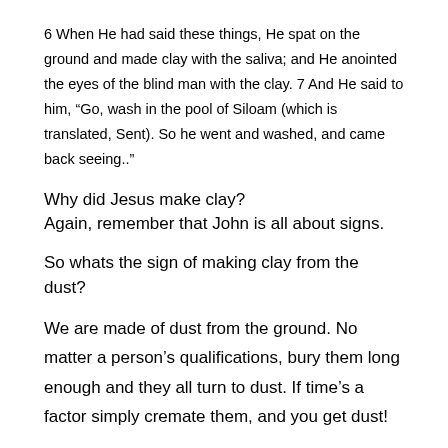6 When He had said these things, He spat on the ground and made clay with the saliva; and He anointed the eyes of the blind man with the clay. 7 And He said to him, “Go, wash in the pool of Siloam (which is translated, Sent). So he went and washed, and came back seeing..”
Why did Jesus make clay?
Again, remember that John is all about signs.
So whats the sign of making clay from the dust?
We are made of dust from the ground. No matter a person’s qualifications, bury them long enough and they all turn to dust. If time’s a factor simply cremate them, and you get dust!
Spitting is humiliating. The Pharisees spat in His